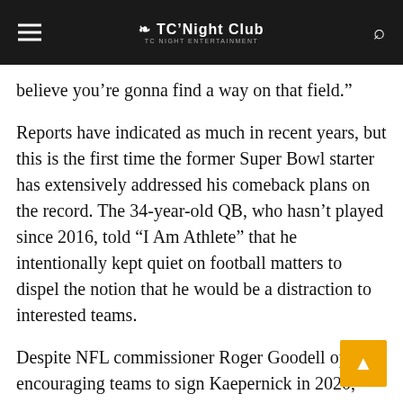TC'Night Club
believe you’re gonna find a way on that field.”
Reports have indicated as much in recent years, but this is the first time the former Super Bowl starter has extensively addressed his comeback plans on the record. The 34-year-old QB, who hasn’t played since 2016, told “I Am Athlete” that he intentionally kept quiet on football matters to dispel the notion that he would be a distraction to interested teams.
Despite NFL commissioner Roger Goodell openly encouraging teams to sign Kaepernick in 2020, when the league publicly acknowledged civil-rights issues the QB had protested during his career, not a single team has hosted the QB for a workout since his departure from San Francisco, Kaepernick said.